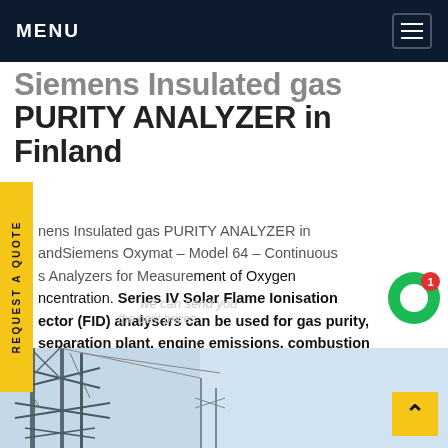MENU
Siemens Insulated gas PURITY ANALYZER in Finland
Siemens Insulated gas PURITY ANALYZER in FinlandSiemens Oxymat – Model 64 – Continuous Gas Analyzers for Measurement of Oxygen Concentration. Series IV Solar Flame Ionisation Detector (FID) analysers can be used for gas purity, separation plant, engine emissions, combustion studies and process plant VOC abatement monitoring applications.Get price
[Figure (photo): Bottom portion showing electrical tower/transmission infrastructure against a sky background]
REQUEST A QUOTE